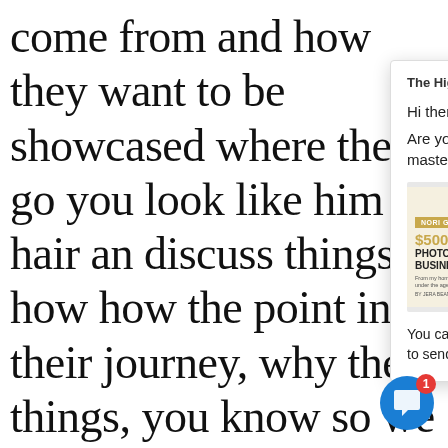come from and how they want to be showcased where the go you look like him in hair and discuss things how how the point in their journey, why these things, you know so we get pretty deep like we do, you know And and providing a safe space do this, is so important. You know
[Figure (screenshot): Popup overlay showing 'The High Rollers Club from The High ...' with message 'Hi there, Are you looking for my photography masterclass?' and an image of a $500,000 Photography Business book with a woman photographer, and text 'You can get free access here. Just tell me where to send it below:']
[Figure (other): Blue circular chat button with white speech bubble icon and red badge showing number 1]